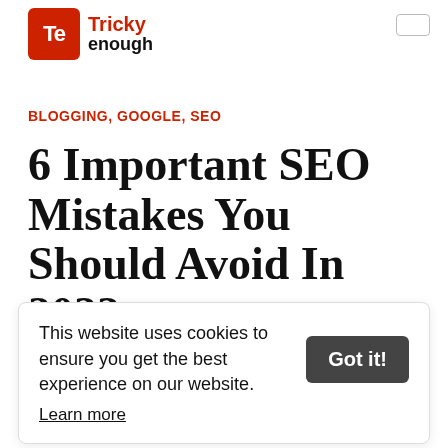[Figure (logo): Tricky Enough logo — red rounded square with 'Te' letters, red bold 'Tricky' text and black bold 'enough' text]
BLOGGING, GOOGLE, SEO
6 Important SEO Mistakes You Should Avoid In 2022
Written by Anne Taylor
This website uses cookies to ensure you get the best experience on our website. Learn more